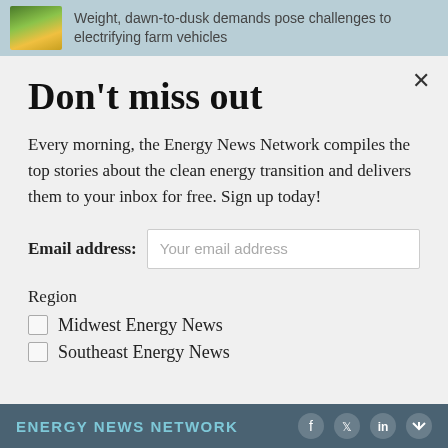Weight, dawn-to-dusk demands pose challenges to electrifying farm vehicles
Don't miss out
Every morning, the Energy News Network compiles the top stories about the clean energy transition and delivers them to your inbox for free. Sign up today!
Email address: Your email address
Region
Midwest Energy News
Southeast Energy News
ENERGY NEWS NETWORK